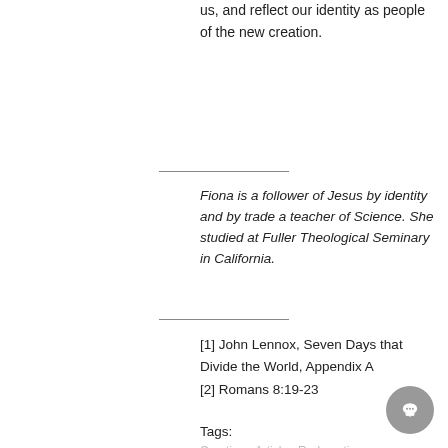us, and reflect our identity as people of the new creation.
Fiona is a follower of Jesus by identity and by trade a teacher of Science. She studied at Fuller Theological Seminary in California.
[1] John Lennox, Seven Days that Divide the World, Appendix A
[2] Romans 8:19-23
Tags:
Creation   Article   Redemption